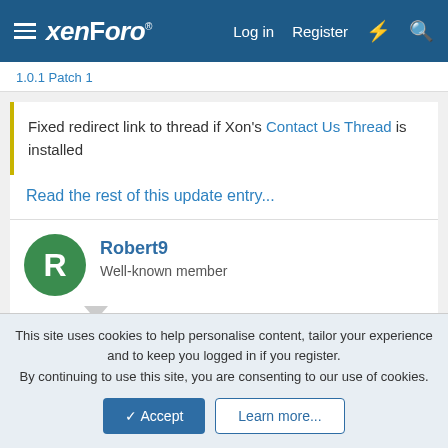xenForo — Log in   Register
1.0.1 Patch 1
Fixed redirect link to thread if Xon's Contact Us Thread is installed
Read the rest of this update entry...
Robert9
Well-known member
Mar 13, 2021  #10
If i have not missed anything, there is still no picture in my thread. 🙁
This site uses cookies to help personalise content, tailor your experience and to keep you logged in if you register.
By continuing to use this site, you are consenting to our use of cookies.